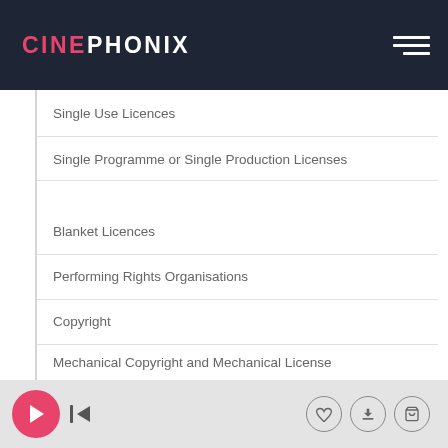CINEPHONIX
Single Use Licences
Single Programme or Single Production Licenses
Blanket Licences
Performing Rights Organisations
Copyright
Mechanical Copyright and Mechanical License
Music Clearances
Guide To Commercial Music Clearance
Cleared In Perpetuity
Player controls bar